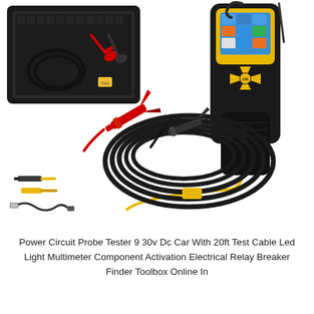[Figure (photo): Product photo of a Power Circuit Probe Tester kit showing: top-left inset of a black carry case with battery clamps and cables; top-right and center showing a yellow and black handheld diagnostic device with color touchscreen display and directional buttons; large coiled black cable with red and black alligator/battery clamps; small accessories including probe tips and USB cable in the bottom-left corner.]
Power Circuit Probe Tester 9 30v Dc Car With 20ft Test Cable Led Light Multimeter Component Activation Electrical Relay Breaker Finder Toolbox Online In